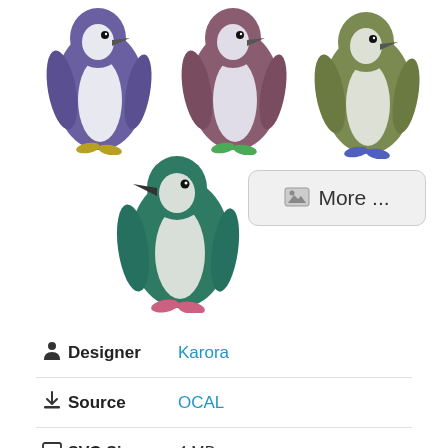[Figure (illustration): Four cartoon penguins in different colors: purple (top left), mauve/brown (top center), olive green (top right), and teal/dark green (bottom left). Each penguin is illustrated in a watercolor style facing left with distinctive colored feet.]
[Figure (screenshot): A UI button with a picture icon and the text 'More ...' in grey rounded rectangle style]
Designer   Karora
Source   OCAL